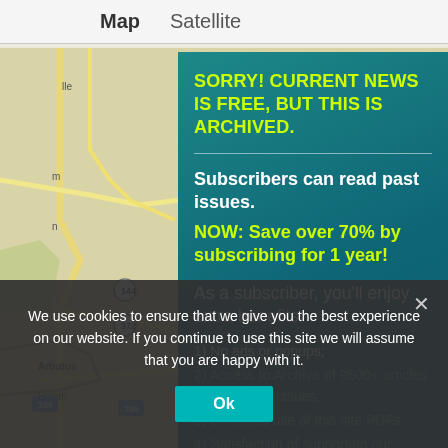[Figure (screenshot): Google Maps background showing road map with 'Map' and 'Satellite' tab options at the top, featuring roads, labels for Arbutus, Haletha, and route markers 144, 372]
SORRY! CURRENT NEWS IS FREE, BUT THIS IS ARCHIVED.
Subscribers can read past issues.
NOW: Save over 70% by subscribing for 1 year!
As a subscriber, you'll enjoy extra benefits:
1) No ads or popups;
2) Access to Archive of 9500+ articles in 175+ Past Issues;
3) Unlimited use of this site PDFs;
4) Satisfaction of supporting our regenerative work; and
5) Email notification of new Issues (2X/month). And More!
We use cookies to ensure that we give you the best experience on our website. If you continue to use this site we will assume that you are happy with it.